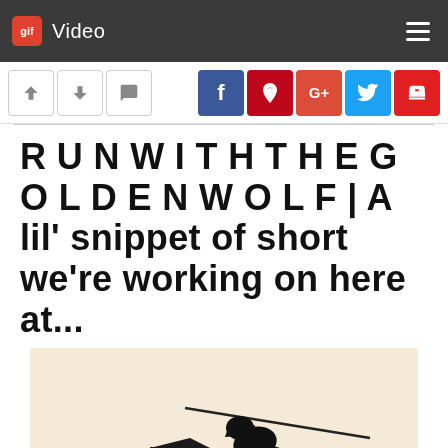gif Video
[Figure (screenshot): Website UI screenshot showing navigation bar with gif logo and Video label, vote buttons (up, down, comment), and social sharing buttons (Facebook, Pinterest, Google+, Twitter, flag)]
R U N W I T H T H E G O L D E N W O L F | A lil' snippet of short we're working on here at...
[Figure (illustration): Black and white illustration of a cartoon character running on a diagonal surface/ramp against a cream/beige background]